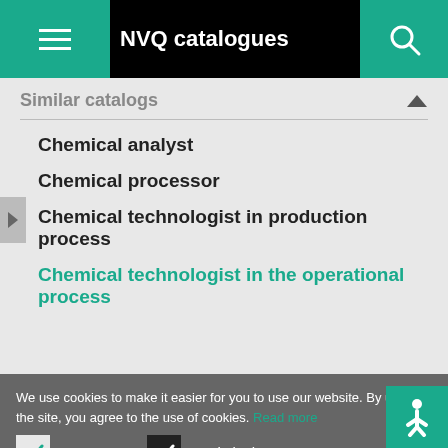NVQ catalogues
Similar catalogs
Chemical analyst
Chemical processor
Chemical technologist in production process
Chemical technologist in the operational process
We use cookies to make it easier for you to use our website. By using the site, you agree to the use of cookies. Read more
Necessary  Analytical
I AGREE